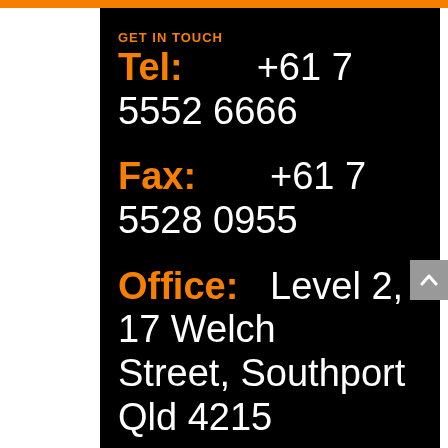GET IN TOUCH
Tel: +61 7 5552 6666
Fax: +61 7 5528 0955
Office: Level 2, 17 Welch Street, Southport Qld 4215